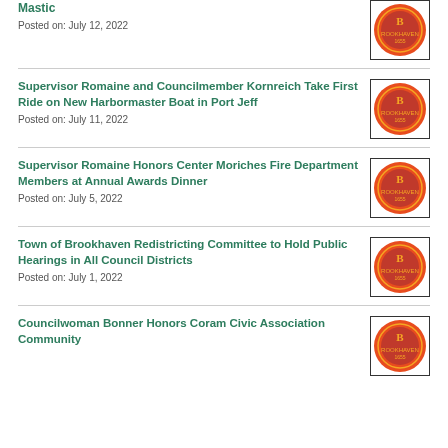Mastic
Posted on: July 12, 2022
Supervisor Romaine and Councilmember Kornreich Take First Ride on New Harbormaster Boat in Port Jeff
Posted on: July 11, 2022
Supervisor Romaine Honors Center Moriches Fire Department Members at Annual Awards Dinner
Posted on: July 5, 2022
Town of Brookhaven Redistricting Committee to Hold Public Hearings in All Council Districts
Posted on: July 1, 2022
Councilwoman Bonner Honors Coram Civic Association Community